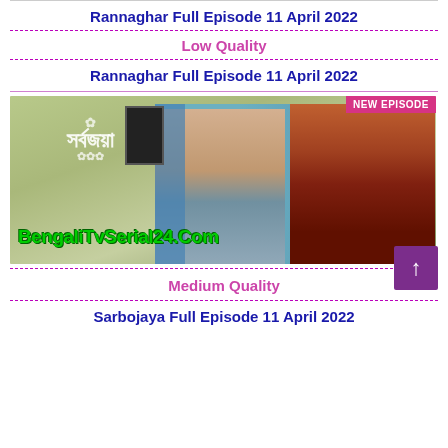Rannaghar Full Episode 11 April 2022
Low Quality
Rannaghar Full Episode 11 April 2022
[Figure (photo): Thumbnail image for Sarbojaya Bengali TV serial episode. Shows two women standing together. A 'NEW EPISODE' badge in magenta is in the top right corner. Bengali script logo 'Sarbojaya' in white on the left side. Watermark 'BengaliTvSerial24.Com' in green at the bottom.]
Medium Quality
Sarbojaya Full Episode 11 April 2022